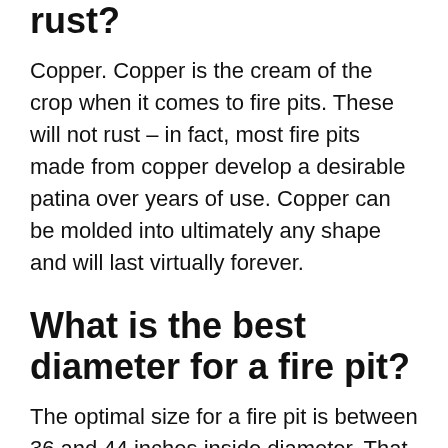rust?
Copper. Copper is the cream of the crop when it comes to fire pits. These will not rust – in fact, most fire pits made from copper develop a desirable patina over years of use. Copper can be molded into ultimately any shape and will last virtually forever.
What is the best diameter for a fire pit?
The optimal size for a fire pit is between 36 and 44 inches inside diameter. That will create enough room for a healthy fire but still keep gatherers close enough to chat. As an added precaution, the fire pit should be lined with a thick steel ring like the ones